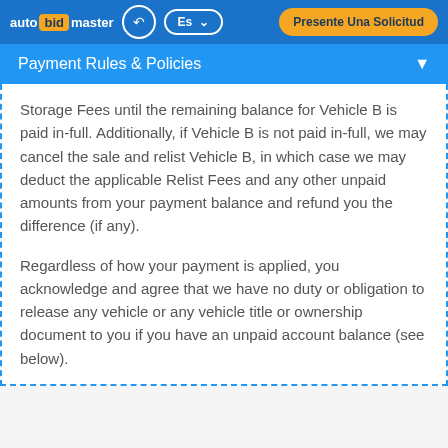auto bid master | Es | Presente Una Solicitud
Payment Rules & Policies
Storage Fees until the remaining balance for Vehicle B is paid in-full. Additionally, if Vehicle B is not paid in-full, we may cancel the sale and relist Vehicle B, in which case we may deduct the applicable Relist Fees and any other unpaid amounts from your payment balance and refund you the difference (if any).
Regardless of how your payment is applied, you acknowledge and agree that we have no duty or obligation to release any vehicle or any vehicle title or ownership document to you if you have an unpaid account balance (see below).